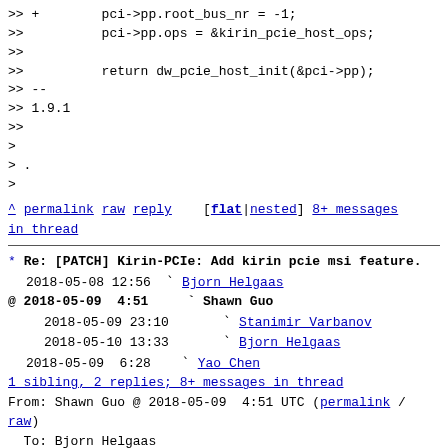>> +        pci->pp.root_bus_nr = -1;
>>          pci->pp.ops = &kirin_pcie_host_ops;
>>
>>          return dw_pcie_host_init(&pci->pp);
>> --
>> 1.9.1
>>
>
> .
>
^ permalink raw reply    [flat|nested] 8+ messages in thread
* Re: [PATCH] Kirin-PCIe: Add kirin pcie msi feature.
  2018-05-08 12:56  ` Bjorn Helgaas
@ 2018-05-09  4:51    ` Shawn Guo
  2018-05-09 23:10      ` Stanimir Varbanov
  2018-05-10 13:33      ` Bjorn Helgaas
  2018-05-09  6:28    ` Yao Chen
  1 sibling, 2 replies; 8+ messages in thread
From: Shawn Guo @ 2018-05-09  4:51 UTC (permalink / raw)
  To: Bjorn Helgaas
  Cc: Yao Chen, songxiaowei, wangbinghui,
lorenzo.pieralisi, bhelgaas,
        xuwei5, robh+dt, mark.rutland, catalin.marinas,
will.deacon,
        linux-pci, linux-kernel, linux-arm-kernel,